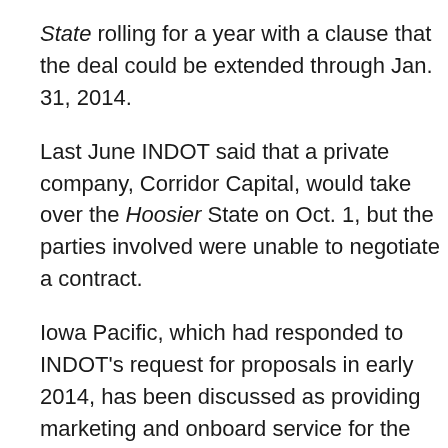State rolling for a year with a clause that the deal could be extended through Jan. 31, 2014.
Last June INDOT said that a private company, Corridor Capital, would take over the Hoosier State on Oct. 1, but the parties involved were unable to negotiate a contract.
Iowa Pacific, which had responded to INDOT's request for proposals in early 2014, has been discussed as providing marketing and onboard service for the Hoosier State.
It is not clear if the train will continue to operate with Amtrak equipment, but it appears likely to continue to have Amtrak operating personnel.
The Hoosier State operates on days that the tri-weekly Chicago-New York Cardinal does not operate between Indianapolis and Chicago. Both trains serve the same